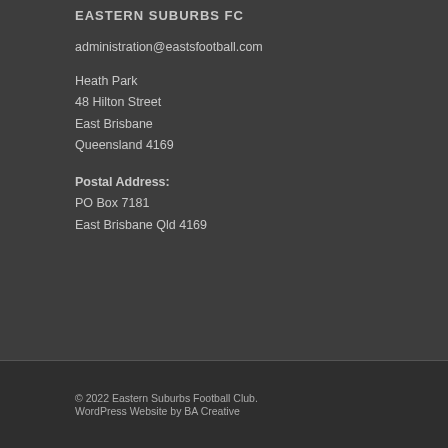EASTERN SUBURBS FC
administration@eastsfootball.com
Heath Park
48 Hilton Street
East Brisbane
Queensland 4169
Postal Address:
PO Box 7181
East Brisbane Qld 4169
© 2022 Eastern Suburbs Football Club.
WordPress Website by BA Creative